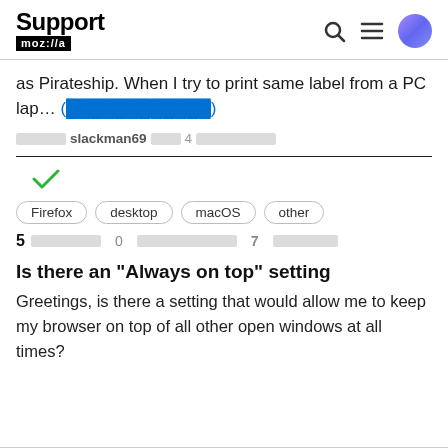Support mozilla // [search icon] [menu icon] [user icon]
as Pirateship. When I try to print same label from a PC lap… (████████████)
██████ slackman69 ████ 4 ██████████
[Figure (other): Green checkmark icon indicating resolved/answered]
Firefox  desktop  macOS  other
5 ██████████  0 ████████████████  7 ██████████
Is there an "Always on top" setting
Greetings, is there a setting that would allow me to keep my browser on top of all other open windows at all times?